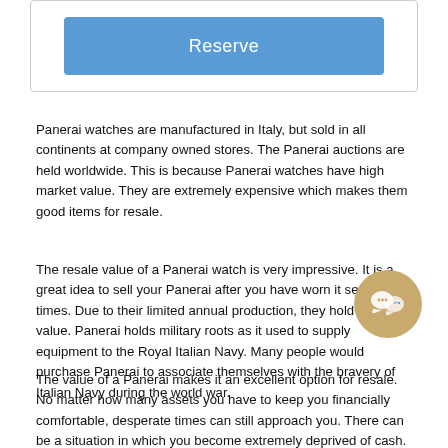[Figure (other): A blue Reserve button inside a bordered box]
Panerai watches are manufactured in Italy, but sold in all continents at company owned stores. The Panerai auctions are held worldwide. This is because Panerai watches have high market value. They are extremely expensive which makes them good items for resale.
The resale value of a Panerai watch is very impressive. It is a great idea to sell your Panerai after you have worn it several times. Due to their limited annual production, they hold immense value. Panerai holds military roots as it used to supply equipment to the Royal Italian Navy. Many people would purchase Panerai to associate themselves with the bravery of Italian Navy during the world war.
The value of a Panerai makes it an excellent option for resale. No matter how many assets you have to keep you financially comfortable, desperate times can still approach you. There can be a situation in which you become extremely deprived of cash. In such a situation, that luxury on your wrist can save you from complete wreckage. Always consider the options of selling your